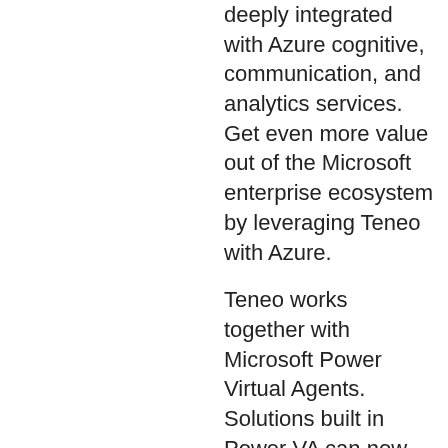deeply integrated with Azure cognitive, communication, and analytics services. Get even more value out of the Microsoft enterprise ecosystem by leveraging Teneo with Azure.
Teneo works together with Microsoft Power Virtual Agents. Solutions built in Power VA can now be deployed with even greater speed and scale across the global contact center. Improve virtual agent response times, listen with